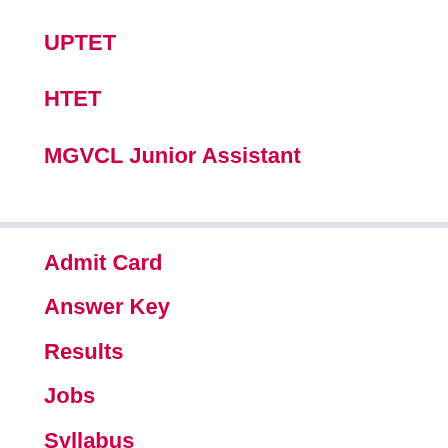UPTET
HTET
MGVCL Junior Assistant
Admit Card
Answer Key
Results
Jobs
Syllabus